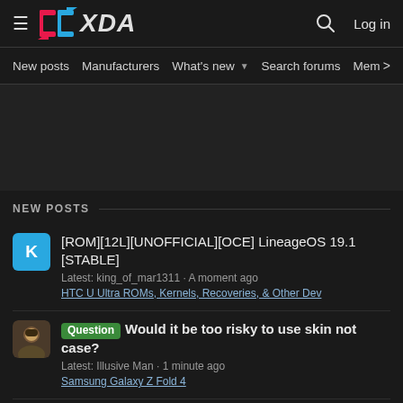XDA Developers
New posts  Manufacturers  What's new  Search forums  Membe  >
NEW POSTS
[ROM][12L][UNOFFICIAL][OCE] LineageOS 19.1 [STABLE]
Latest: king_of_mar1311 · A moment ago
HTC U Ultra ROMs, Kernels, Recoveries, & Other Dev
Question  Would it be too risky to use skin not case?
Latest: Illusive Man · 1 minute ago
Samsung Galaxy Z Fold 4
Development  [ROM][OFFICIAL][alioth/aliothin][12.1] LineageOS 19.1